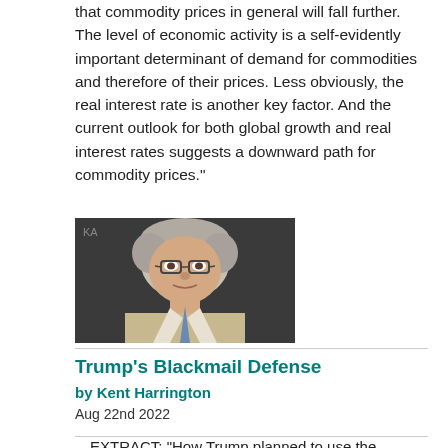that commodity prices in general will fall further. The level of economic activity is a self-evidently important determinant of demand for commodities and therefore of their prices. Less obviously, the real interest rate is another key factor. And the current outlook for both global growth and real interest rates suggests a downward path for commodity prices."
[Figure (photo): Headshot photo of a man with grey/white hair wearing glasses, a light beige/tan blazer and blue tie, shown against a dark background. Initials 'KA' visible in upper left corner of image.]
Trump's Blackmail Defense
by Kent Harrington
Aug 22nd 2022
EXTRACT: "How Trump planned to use the classified documents remains a question that investigators presumably have made a high priority.